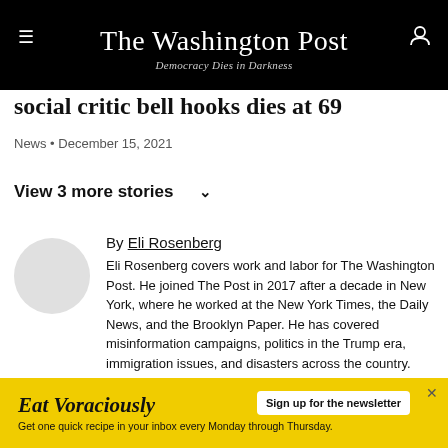The Washington Post — Democracy Dies in Darkness
social critic bell hooks dies at 69
News • December 15, 2021
View 3 more stories
By Eli Rosenberg
Eli Rosenberg covers work and labor for The Washington Post. He joined The Post in 2017 after a decade in New York, where he worked at the New York Times, the Daily News, and the Brooklyn Paper. He has covered misinformation campaigns, politics in the Trump era, immigration issues, and disasters across the country.
Twitter
[Figure (infographic): Yellow advertisement banner: Eat Voraciously — Sign up for the newsletter. Get one quick recipe in your inbox every Monday through Thursday.]